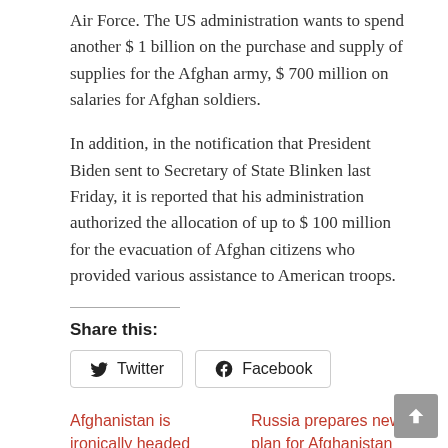Air Force. The US administration wants to spend another $ 1 billion on the purchase and supply of supplies for the Afghan army, $ 700 million on salaries for Afghan soldiers.
In addition, in the notification that President Biden sent to Secretary of State Blinken last Friday, it is reported that his administration authorized the allocation of up to $ 100 million for the evacuation of Afghan citizens who provided various assistance to American troops.
Share this:
Twitter   Facebook
Afghanistan is ironically headed towards another dark age
August 25, 2022
In "Article"
Russia prepares new plan for Afghanistan
June 16, 2022
In "Article"
Beijing Implores Washington